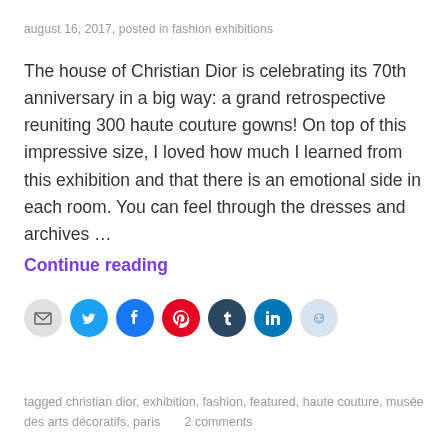august 16, 2017, posted in fashion exhibitions
The house of Christian Dior is celebrating its 70th anniversary in a big way: a grand retrospective reuniting 300 haute couture gowns! On top of this impressive size, I loved how much I learned from this exhibition and that there is an emotional side in each room. You can feel through the dresses and archives …
Continue reading
[Figure (infographic): Row of social sharing icon buttons: email (gray), Twitter (blue), Facebook (blue), Pinterest (red), Tumblr (dark navy), LinkedIn (blue), Reddit (light blue)]
tagged christian dior, exhibition, fashion, featured, haute couture, musée des arts décoratifs, paris     2 comments